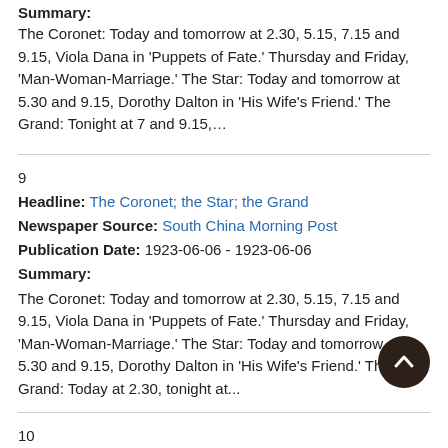Summary: The Coronet: Today and tomorrow at 2.30, 5.15, 7.15 and 9.15, Viola Dana in 'Puppets of Fate.' Thursday and Friday, 'Man-Woman-Marriage.' The Star: Today and tomorrow at 5.30 and 9.15, Dorothy Dalton in 'His Wife's Friend.' The Grand: Tonight at 7 and 9.15,…
9
Headline: The Coronet; the Star; the Grand
Newspaper Source: South China Morning Post
Publication Date: 1923-06-06 - 1923-06-06
Summary: The Coronet: Today and tomorrow at 2.30, 5.15, 7.15 and 9.15, Viola Dana in 'Puppets of Fate.' Thursday and Friday, 'Man-Woman-Marriage.' The Star: Today and tomorrow at 5.30 and 9.15, Dorothy Dalton in 'His Wife's Friend.' The Grand: Today at 2.30, tonight at...
10
Headline: Grand Theatre: Wanchai; the Largest Theatre in the